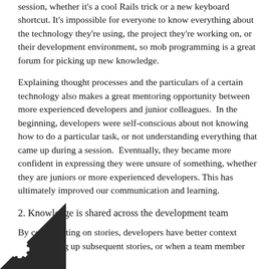session, whether it's a cool Rails trick or a new keyboard shortcut. It's impossible for everyone to know everything about the technology they're using, the project they're working on, or their development environment, so mob programming is a great forum for picking up new knowledge.
Explaining thought processes and the particulars of a certain technology also makes a great mentoring opportunity between more experienced developers and junior colleagues.  In the beginning, developers were self-conscious about not knowing how to do a particular task, or not understanding everything that came up during a session.  Eventually, they became more confident in expressing they were unsure of something, whether they are juniors or more experienced developers. This has ultimately improved our communication and learning.
2. Knowledge is shared across the development team
By collaborating on stories, developers have better context when picking up subsequent stories, or when a team member is absent.